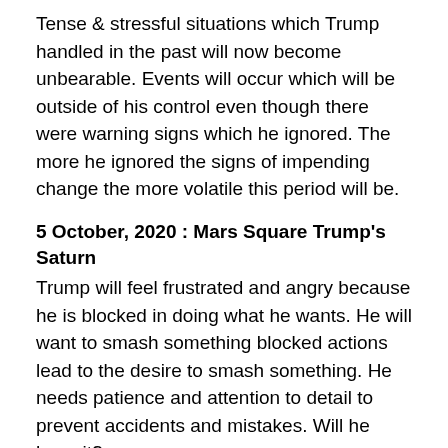Tense & stressful situations which Trump handled in the past will now become unbearable. Events will occur which will be outside of his control even though there were warning signs which he ignored. The more he ignored the signs of impending change the more volatile this period will be.
5 October, 2020 : Mars Square Trump's Saturn
Trump will feel frustrated and angry because he is blocked in doing what he wants. He will want to smash something blocked actions lead to the desire to smash something. He needs patience and attention to detail to prevent accidents and mistakes. Will he have it?
17 October, 2020 : Uranus Conjunct Trump's Midheaven
This transit occurs only once in each 84-year cycle of